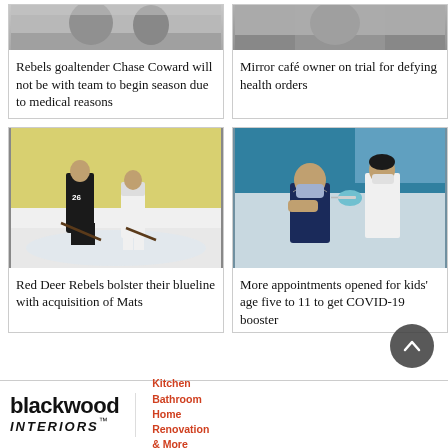[Figure (photo): Hockey goaltender photo (top left)]
Rebels goaltender Chase Coward will not be with team to begin season due to medical reasons
[Figure (photo): Mirror café owner photo (top right)]
Mirror café owner on trial for defying health orders
[Figure (photo): Red Deer Rebels hockey players on ice, player #26 visible]
Red Deer Rebels bolster their blueline with acquisition of Mats
[Figure (photo): Child receiving COVID-19 vaccine shot from healthcare worker]
More appointments opened for kids' age five to 11 to get COVID-19 booster
[Figure (logo): Blackwood Interiors advertisement — Kitchen, Bathroom, Home Renovation & More]